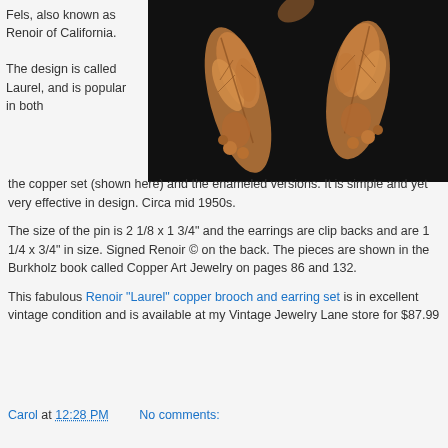Fels, also known as Renoir of California.
[Figure (photo): Two copper leaf-shaped brooches/earrings on a dark background, showing detailed leaf vein designs in warm copper/rose gold tones.]
The design is called Laurel, and is popular in both the copper set (shown here) and the enameled versions. It is simple and yet very effective in design. Circa mid 1950s.
The size of the pin is 2 1/8 x 1 3/4" and the earrings are clip backs and are 1 1/4 x 3/4" in size. Signed Renoir © on the back. The pieces are shown in the Burkholz book called Copper Art Jewelry on pages 86 and 132.
This fabulous Renoir "Laurel" copper brooch and earring set is in excellent vintage condition and is available at my Vintage Jewelry Lane store for $87.99
Carol at 12:28 PM    No comments:
Share